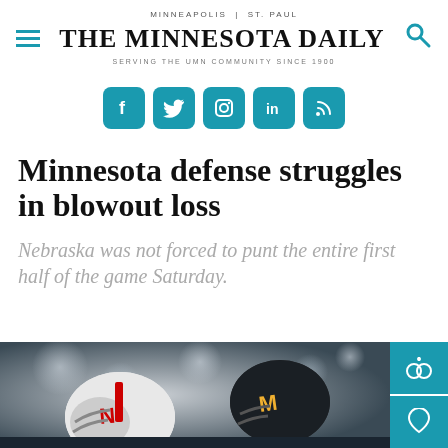MINNEAPOLIS  |  ST. PAUL
THE MINNESOTA DAILY
SERVING THE UMN COMMUNITY SINCE 1900
[Figure (logo): Social media icons: Facebook, Twitter, Instagram, LinkedIn, RSS — teal rounded square buttons]
Minnesota defense struggles in blowout loss
Nebraska was not forced to punt the entire first half of the game Saturday.
[Figure (photo): Football players in helmets — Nebraska player in white helmet with N, Minnesota player in dark helmet with M logo, bokeh background]